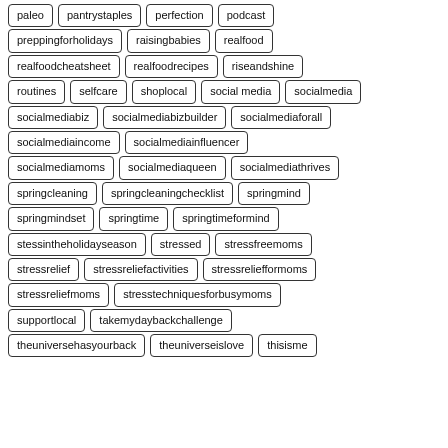paleo
pantrystaples
perfection
podcast
preppingforholidays
raisingbabies
realfood
realfoodcheatsheet
realfoodrecipes
riseandshine
routines
selfcare
shoplocal
social media
socialmedia
socialmediabiz
socialmediabizbuilder
socialmediaforall
socialmediaincome
socialmediainfluencer
socialmediamoms
socialmediaqueen
socialmediathrives
springcleaning
springcleaningchecklist
springmind
springmindset
springtime
springtimeformind
stessintheholidayseason
stressed
stressfreemoms
stressrelief
stressreliefactivities
stressreliefformoms
stressreliefmoms
stresstechniquesforbusymoms
supportlocal
takemydaybackchallenge
theuniversehasyourback
theuniverseislove
thisisme